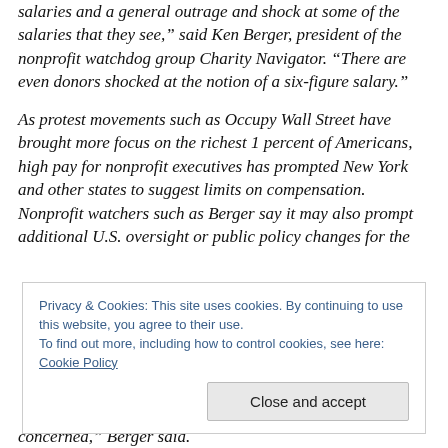salaries and a general outrage and shock at some of the salaries that they see," said Ken Berger, president of the nonprofit watchdog group Charity Navigator. "There are even donors shocked at the notion of a six-figure salary."
As protest movements such as Occupy Wall Street have brought more focus on the richest 1 percent of Americans, high pay for nonprofit executives has prompted New York and other states to suggest limits on compensation. Nonprofit watchers such as Berger say it may also prompt additional U.S. oversight or public policy changes for the
Privacy & Cookies: This site uses cookies. By continuing to use this website, you agree to their use.
To find out more, including how to control cookies, see here: Cookie Policy
Close and accept
concerned," Berger said.